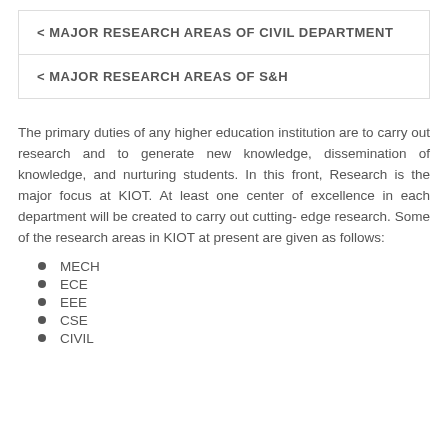< MAJOR RESEARCH AREAS OF CIVIL DEPARTMENT
< MAJOR RESEARCH AREAS OF S&H
The primary duties of any higher education institution are to carry out research and to generate new knowledge, dissemination of knowledge, and nurturing students. In this front, Research is the major focus at KIOT. At least one center of excellence in each department will be created to carry out cutting- edge research. Some of the research areas in KIOT at present are given as follows:
MECH
ECE
EEE
CSE
CIVIL